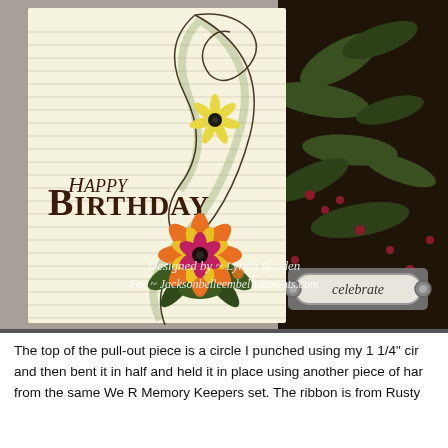[Figure (photo): Handmade birthday card with lined paper background, 'Happy Birthday' stamped text in brown, decorative floral swirl with yellow and orange flowers, pink center flower, green foliage. Dark botanical patterned paper on right side with a metal 'celebrate' tag. Watermark reads 'Designed by ~ Lynda Benden / For ~ Jacksonbelleembellishments.com']
The top of the pull-out piece is a circle I punched using my 1 1/4" cir and then bent it in half and held it in place using another piece of ha from the same We R Memory Keepers set. The ribbon is from Rusty